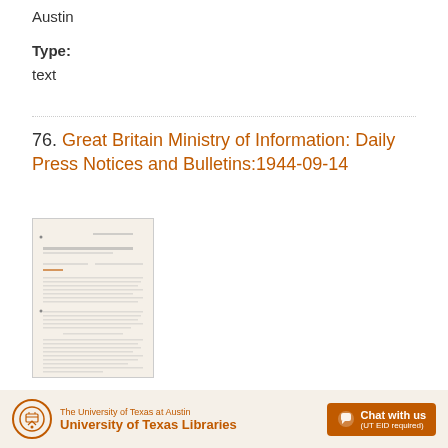Austin
Type:
text
76. Great Britain Ministry of Information: Daily Press Notices and Bulletins:1944-09-14
[Figure (photo): Thumbnail image of a historical document page with dense typed text on aged paper]
The University of Texas at Austin University of Texas Libraries  Chat with us (UT EID required)